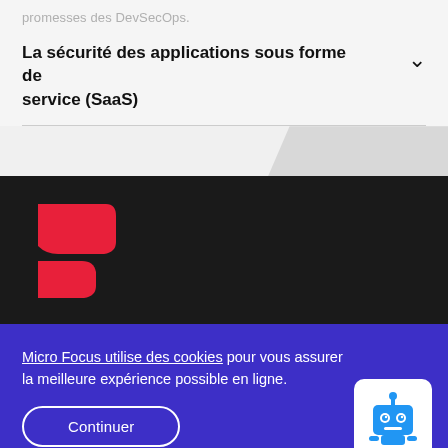promesses des DevSecOps.
La sécurité des applications sous forme de service (SaaS)
[Figure (logo): Micro Focus logo — stylized red B-shape made of two curved/angular red shapes on dark background]
Micro Focus utilise des cookies pour vous assurer la meilleure expérience possible en ligne.
Continuer